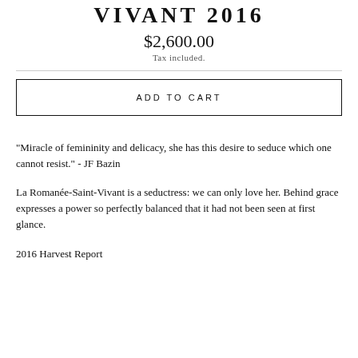VIVANT 2016
$2,600.00
Tax included.
ADD TO CART
"Miracle of femininity and delicacy, she has this desire to seduce which one cannot resist." - JF Bazin
La Romanée-Saint-Vivant is a seductress: we can only love her. Behind grace expresses a power so perfectly balanced that it had not been seen at first glance.
2016 Harvest Report